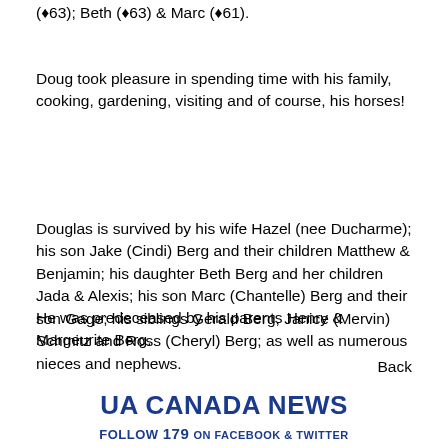(♦63); Beth (♦63) & Marc (♦61).
Doug took pleasure in spending time with his family, cooking, gardening, visiting and of course, his horses!
Douglas is survived by his wife Hazel (nee Ducharme); his son Jake (Cindi) Berg and their children Matthew & Benjamin; his daughter Beth Berg and her children Jada & Alexis; his son Marc (Chantelle) Berg and their son Gage; his siblings Gerald Berg, Janice (Mervin) Schmitz and Ross (Cheryl) Berg; as well as numerous nieces and nephews.
He was predeceased by his parents Henry & Margeurite Berg.
Back
UA CANADA NEWS
FOLLOW 179 ON FACEBOOK & TWITTER